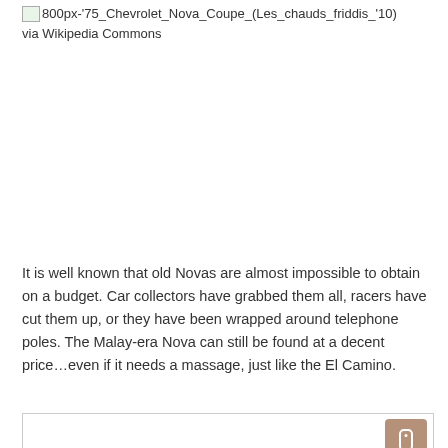800px-'75_Chevrolet_Nova_Coupe_(Les_chauds_friddis_'10) via Wikipedia Commons
It is well known that old Novas are almost impossible to obtain on a budget. Car collectors have grabbed them all, racers have cut them up, or they have been wrapped around telephone poles. The Malay-era Nova can still be found at a decent price…even if it needs a massage, just like the El Camino.